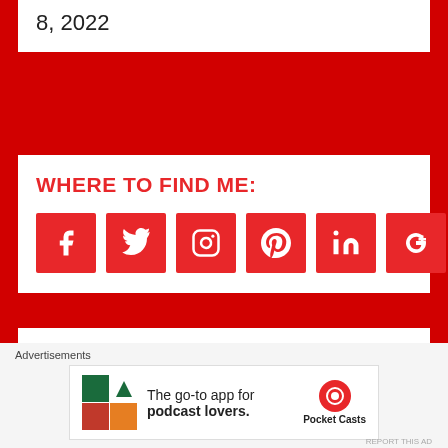8, 2022
WHERE TO FIND ME:
[Figure (infographic): Six social media icon buttons (Facebook, Twitter, Instagram, Pinterest, LinkedIn, Google+) as red squares with white icons]
TODAY'S TOP POSTS
[Figure (photo): Thumbnail of hands making a heart shape against mountain background]
About Me
[Figure (photo): Thumbnail of a person outdoors]
Baby Buchi Learns to Rock
Advertisements
The go-to app for podcast lovers.